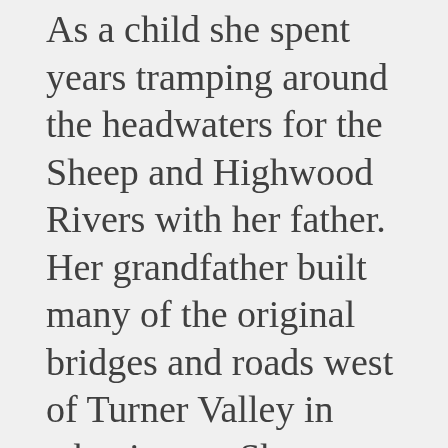As a child she spent years tramping around the headwaters for the Sheep and Highwood Rivers with her father. Her grandfather built many of the original bridges and roads west of Turner Valley in what is now Sheep River Provincial Park.

From 2002 to 2015 she lived in Ottawa and Calgary when her husband Stephen Harper was Prime